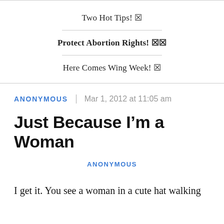Two Hot Tips! ☒
Protect Abortion Rights! ☒☒
Here Comes Wing Week! ☒
ANONYMOUS | Mar 1, 2012 at 11:05 am
Just Because I’m a Woman
ANONYMOUS
I get it. You see a woman in a cute hat walking